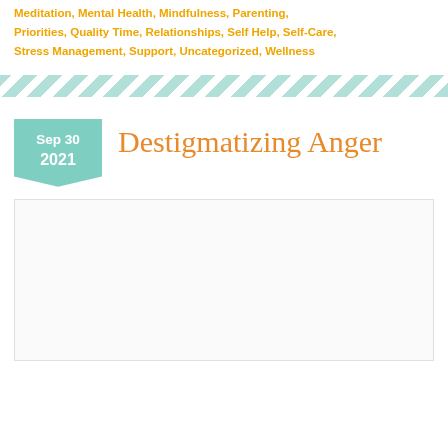Meditation, Mental Health, Mindfulness, Parenting, Priorities, Quality Time, Relationships, Self Help, Self-Care, Stress Management, Support, Uncategorized, Wellness
[Figure (other): Diagonal teal/mint stripe decorative divider band]
Destigmatizing Anger
[Figure (photo): Empty white image placeholder box with light border]